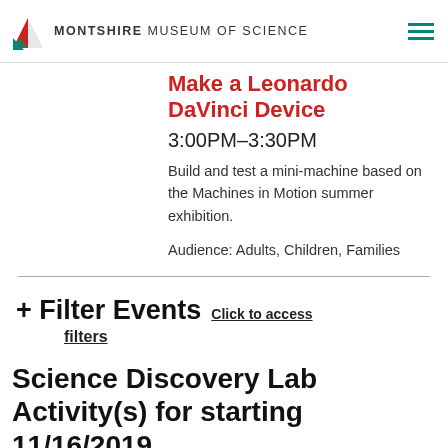MONTSHIRE MUSEUM OF SCIENCE
Make a Leonardo DaVinci Device
3:00PM–3:30PM
Build and test a mini-machine based on the Machines in Motion summer exhibition.
Audience: Adults, Children, Families
+ Filter Events Click to access filters
Science Discovery Lab Activity(s) for starting 11/16/2019